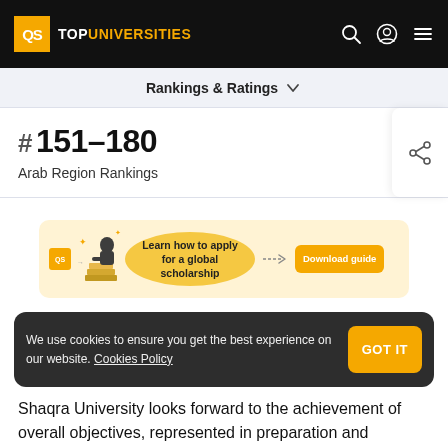QS TOP UNIVERSITIES
Rankings & Ratings
# 151-180
Arab Region Rankings
[Figure (illustration): QS scholarship advertisement banner: 'Learn how to apply for a global scholarship' with Download guide button]
We use cookies to ensure you get the best experience on our website. Cookies Policy  GOT IT
Shaqra University looks forward to the achievement of overall objectives, represented in preparation and development of national human resources, and the…